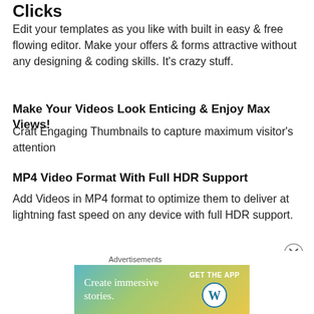Clicks
Edit your templates as you like with built in easy & free flowing editor. Make your offers & forms attractive without any designing & coding skills. It's crazy stuff.
Make Your Videos Look Enticing & Enjoy Max Views!
Craft Engaging Thumbnails to capture maximum visitor's attention
MP4 Video Format With Full HD R Support
Add Videos in MP4 format to optimize them to deliver at lightning fast speed on any device with full HDR support.
128 Bit Secured, SSL Encryption For Maximum Security To Your Files, Data And Websites
[Figure (infographic): Advertisement banner: Create immersive stories. GET THE APP with WordPress logo. Gradient background from teal to yellow-green.]